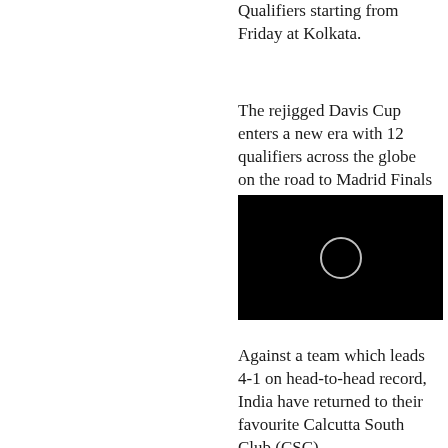Qualifiers starting from Friday at Kolkata.
The rejigged Davis Cup enters a new era with 12 qualifiers across the globe on the road to Madrid Finals in November.
[Figure (photo): Black video player thumbnail with a circular play/loading ring icon in the center]
Against a team which leads 4-1 on head-to-head record, India have returned to their favourite Calcutta South Club (CSC)